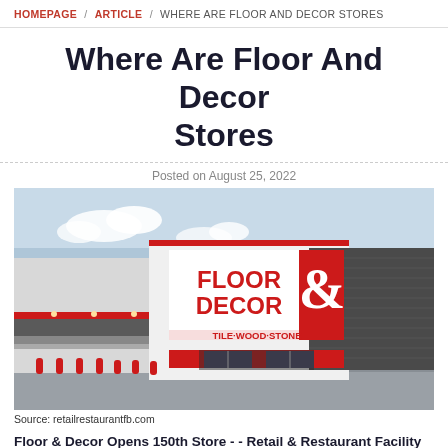HOMEPAGE / ARTICLE / WHERE ARE FLOOR AND DECOR STORES
Where Are Floor And Decor Stores
Posted on August 25, 2022
[Figure (photo): Exterior photo of a Floor & Decor store showing the building facade with the Floor & Decor Tile·Wood·Stone logo sign in red, a red canopy over the entrance, dark gray corrugated metal siding, and red bollards in the parking lot.]
Source: retailrestaurantfb.com
Floor & Decor Opens 150th Store - - Retail & Restaurant Facility